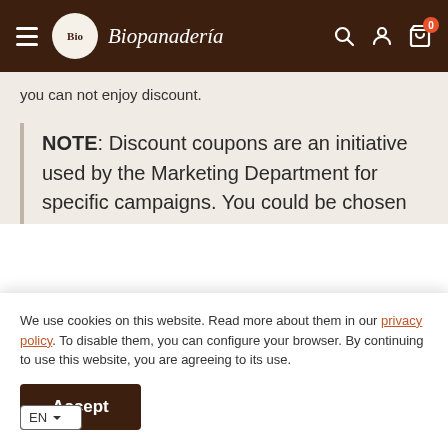Biopanadería — navigation header with hamburger menu, logo, search, account, and cart icons
you can not enjoy discount.
NOTE: Discount coupons are an initiative used by the Marketing Department for specific campaigns. You could be chosen
We use cookies on this website. Read more about them in our privacy policy. To disable them, you can configure your browser. By continuing to use this website, you are agreeing to its use.
Accept
EN